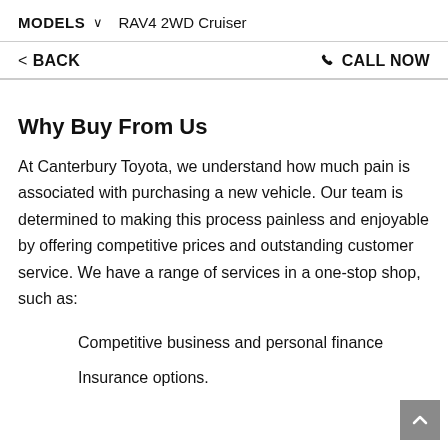MODELS ∨ RAV4 2WD Cruiser
< BACK    📞 CALL NOW
Why Buy From Us
At Canterbury Toyota, we understand how much pain is associated with purchasing a new vehicle. Our team is determined to making this process painless and enjoyable by offering competitive prices and outstanding customer service. We have a range of services in a one-stop shop, such as:
Competitive business and personal finance
Insurance options.